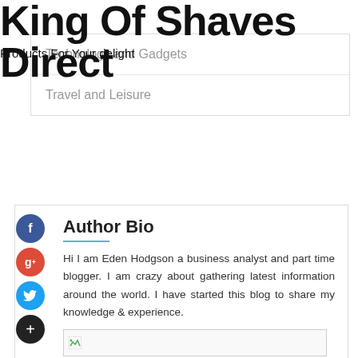King Of Shaves Direct
Products For Your delight
Technology and Gadgets
Travel and Leisure
Author Bio
Hi I am Eden Hodgson a business analyst and part time blogger. I am crazy about gathering latest information around the world. I have started this blog to share my knowledge & experience.
[Figure (other): Broken image placeholder at bottom of author bio section]